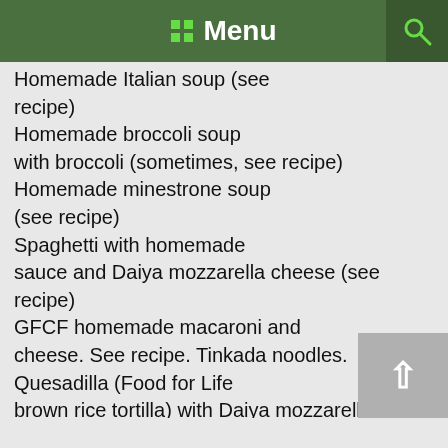Menu
Homemade Italian soup (see recipe)
Homemade broccoli soup with broccoli (sometimes, see recipe)
Homemade minestrone soup (see recipe)
Spaghetti with homemade sauce and Daiya mozzarella cheese (see recipe)
GFCF homemade macaroni and cheese. See recipe. Tinkada noodles.
Quesadilla (Food for Life brown rice tortilla) with Daiya mozzarella cheese
Grilled Cheese with Daiya cheddar cheese and Rudi's gluten free Original bread.
Turkey sandwich with lettuce on Food for Life brown rice bread. Hormel Natural Oven Roasted turkey.
Hamburger with ketchup, sometimes mustard, chopped onions, and Daiya cheddar